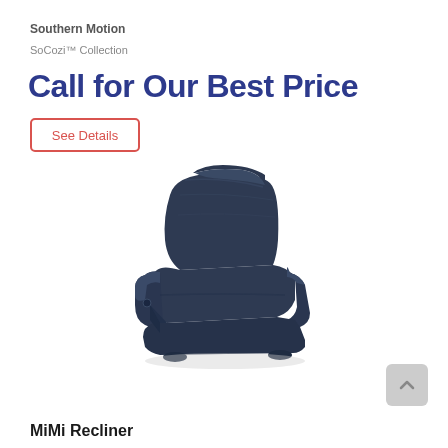Southern Motion
SoCozi™ Collection
Call for Our Best Price
See Details
[Figure (photo): Dark navy blue leather recliner chair with padded headrest and armrests, shown from a slight angle]
MiMi Recliner